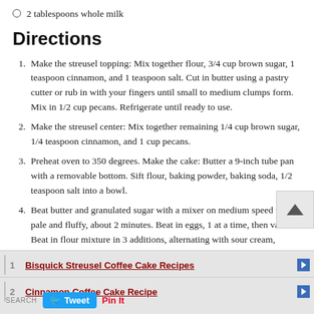2 tablespoons whole milk
Directions
Make the streusel topping: Mix together flour, 3/4 cup brown sugar, 1 teaspoon cinnamon, and 1 teaspoon salt. Cut in butter using a pastry cutter or rub in with your fingers until small to medium clumps form. Mix in 1/2 cup pecans. Refrigerate until ready to use.
Make the streusel center: Mix together remaining 1/4 cup brown sugar, 1/4 teaspoon cinnamon, and 1 cup pecans.
Preheat oven to 350 degrees. Make the cake: Butter a 9-inch tube pan with a removable bottom. Sift flour, baking powder, baking soda, 1/2 teaspoon salt into a bowl.
Beat butter and granulated sugar with a mixer on medium speed until pale and fluffy, about 2 minutes. Beat in eggs, 1 at a time, then vanilla. Beat in flour mixture in 3 additions, alternating with sour cream, beginning and ending with flour. Continue to beat until well combined.
Bisquick Streusel Coffee Cake Recipes
Cinnamon Coffee Cake Recipe